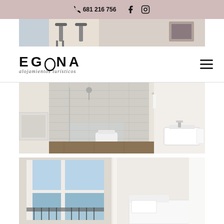☎ 681 216 756  f  Instagram
[Figure (photo): Partial view of a room interior, cropped at top]
[Figure (logo): EGONA alojamientos turísticos logo with hamburger menu]
[Figure (photo): Modern bathroom with marble tile shower, wall-mounted toilet, round mirror, and white sink]
[Figure (photo): Hotel room with open balcony window showing sea view, white walls and bed]